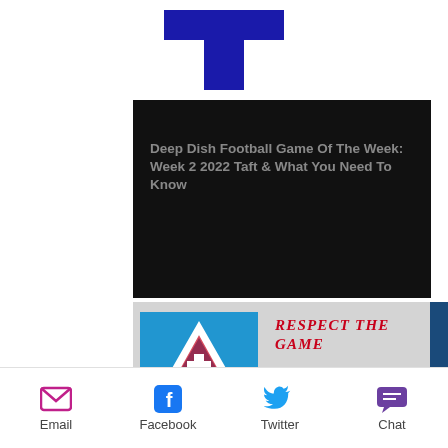[Figure (logo): Blue cross/plus shape partially visible at top of page]
[Figure (screenshot): Black video thumbnail for 'Deep Dish Football Game Of The Week: Week 2 2022 Taft & What You Need To Know']
Deep Dish Football Game Of The Week: Week 2 2022 Taft & What You Need To Know
[Figure (logo): Deep Dish Football logo on blue background — triangle with shield and cross]
RESPECT THE GAME
ANY QUESTIONS EMAIL- coachbigpetefbgm
Email   Facebook   Twitter   Chat